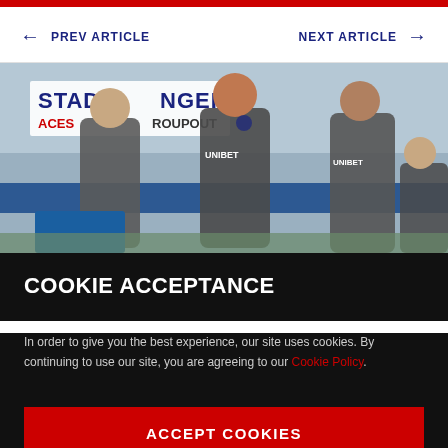PREV ARTICLE
NEXT ARTICLE
[Figure (photo): Rangers FC coaching staff standing on the touchline/dugout area in grey Unibet-branded training tops, with stadium signage visible in the background]
COOKIE ACCEPTANCE
In order to give you the best experience, our site uses cookies. By continuing to use our site, you are agreeing to our Cookie Policy.
ACCEPT COOKIES